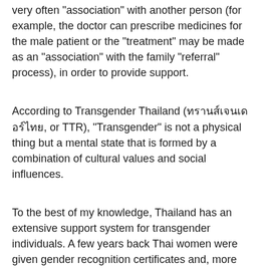very often "association" with another person (for example, the doctor can prescribe medicines for the male patient or the "treatment" may be made as an "association" with the family "referral" process), in order to provide support.
According to Transgender Thailand (ทรานส์เจนเดอร์ไทย, or TTR), "Transgender" is not a physical thing but a mental state that is formed by a combination of cultural values and social influences.
To the best of my knowledge, Thailand has an extensive support system for transgender individuals. A few years back Thai women were given gender recognition certificates and, more recently, Thai men and Thai men's organizations have started to talk about gender-transition. xt labs t xt 400. I